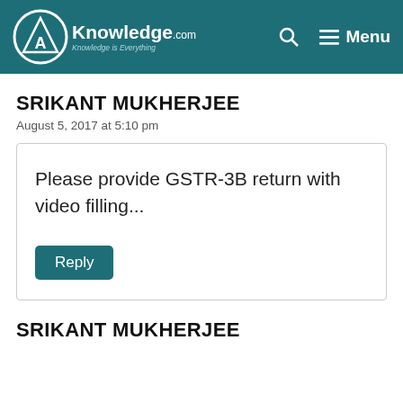CAknowledge.com — Knowledge is Everything | Search | Menu
SRIKANT MUKHERJEE
August 5, 2017 at 5:10 pm
Please provide GSTR-3B return with video filling...
Reply
SRIKANT MUKHERJEE